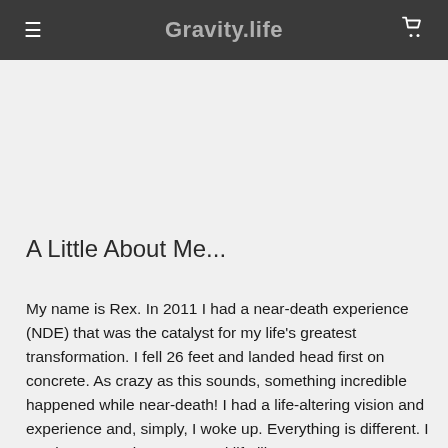Gravity.life
A Little About Me...
My name is Rex. In 2011 I had a near-death experience (NDE) that was the catalyst for my life's greatest transformation. I fell 26 feet and landed head first on concrete. As crazy as this sounds, something incredible happened while near-death! I had a life-altering vision and experience and, simply, I woke up. Everything is different. I see love, consciousness, and life like never